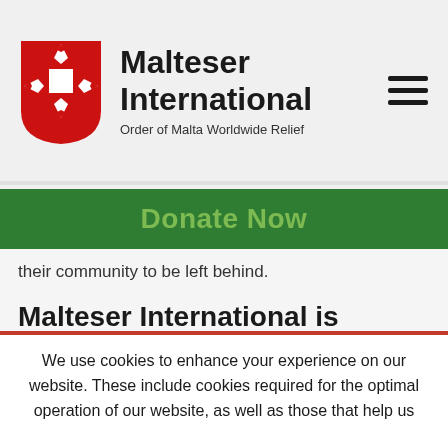Malteser International — Order of Malta Worldwide Relief
Donate Now
their community to be left behind.
Malteser International is working with local partners. What does this cooperation look like?
ELS: (Laughs) Without our partners we would be nothing! It is nice to see how cordial the working relationships here are and how committed organizations
We use cookies to enhance your experience on our website. These include cookies required for the optimal operation of our website, as well as those that help us